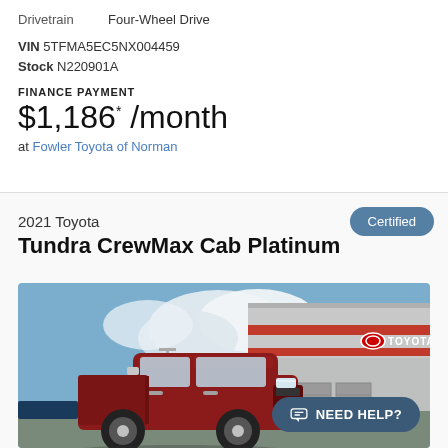Drivetrain    Four-Wheel Drive
VIN 5TFMA5EC5NX004459
Stock N220901A
FINANCE PAYMENT
$1,186* /month
at Fowler Toyota of Norman
2021 Toyota
Tundra CrewMax Cab Platinum
[Figure (photo): Red 2021 Toyota Tundra CrewMax Cab Platinum truck parked in front of a Toyota dealership building with red horizontal stripe branding on a sunny day.]